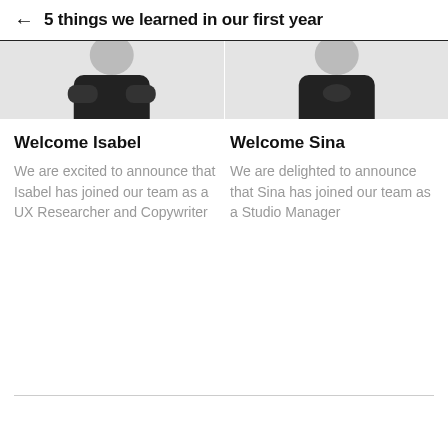← 5 things we learned in our first year
[Figure (photo): Two side-by-side cropped photos of people in black clothing against a light gray background, partially visible (torso/arms only)]
Welcome Isabel
We are excited to announce that Isabel has joined our team as a UX Researcher and Copywriter
Welcome Sina
We are delighted to announce that Sina has joined our team as a Studio Manager